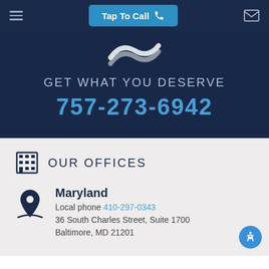Tap To Call
[Figure (logo): White wave/swoosh logo on dark navy background]
GET WHAT YOU DESERVE
757-273-6942
OUR OFFICES
Maryland
Local phone 410-297-0343
36 South Charles Street, Suite 1700
Baltimore, MD 21201